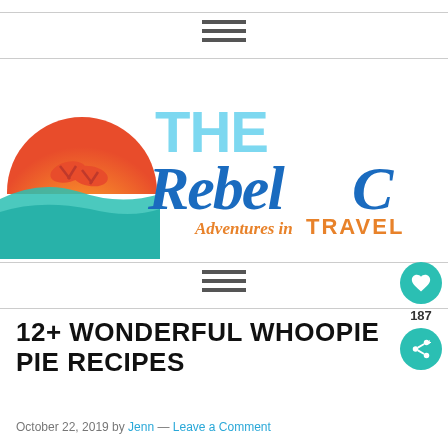[Figure (logo): The Rebel Chick - Adventures in Travel blog logo with flip-flops sunset graphic, teal and blue stylized text]
12+ WONDERFUL WHOOPIE PIE RECIPES
October 22, 2019 by Jenn — Leave a Comment